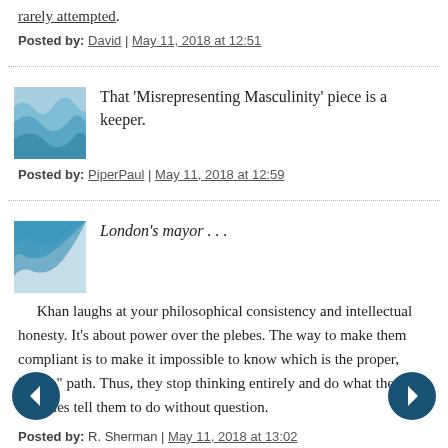rarely attempted.
Posted by: David | May 11, 2018 at 12:51
That 'Misrepresenting Masculinity' piece is a keeper.
Posted by: PiperPaul | May 11, 2018 at 12:59
London's mayor . . .
Khan laughs at your philosophical consistency and intellectual honesty. It's about power over the plebes. The way to make them compliant is to make it impossible to know which is the proper, "woke" path. Thus, they stop thinking entirely and do what the worthies tell them to do without question.
Posted by: R. Sherman | May 11, 2018 at 13:02